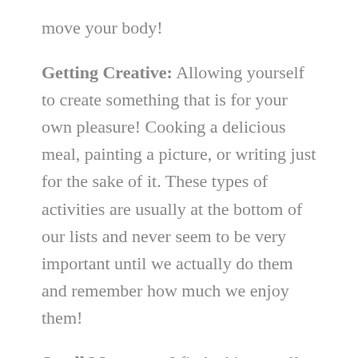move your body!
Getting Creative: Allowing yourself to create something that is for your own pleasure! Cooking a delicious meal, painting a picture, or writing just for the sake of it. These types of activities are usually at the bottom of our lists and never seem to be very important until we actually do them and remember how much we enjoy them!
Small Moments: I find taking small moments throughout my day to be the most beneficial for my own self-regulation. These moments can include